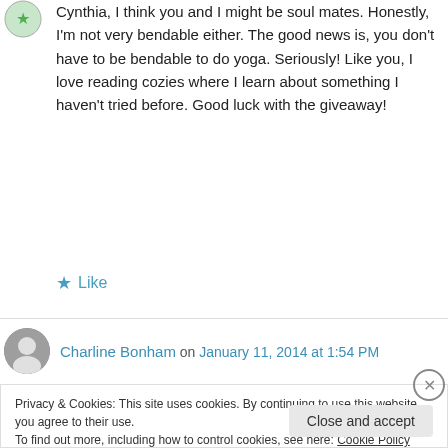Cynthia, I think you and I might be soul mates. Honestly, I'm not very bendable either. The good news is, you don't have to be bendable to do yoga. Seriously! Like you, I love reading cozies where I learn about something I haven't tried before. Good luck with the giveaway!
★ Like
Charline Bonham on January 11, 2014 at 1:54 PM
Privacy & Cookies: This site uses cookies. By continuing to use this website, you agree to their use.
To find out more, including how to control cookies, see here: Cookie Policy
Close and accept